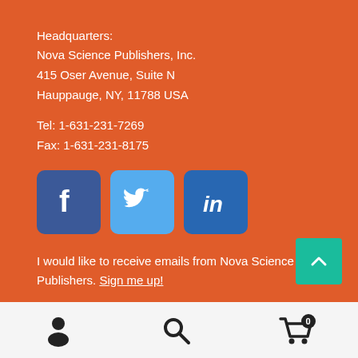Headquarters:
Nova Science Publishers, Inc.
415 Oser Avenue, Suite N
Hauppauge, NY, 11788 USA
Tel: 1-631-231-7269
Fax: 1-631-231-8175
[Figure (logo): Facebook, Twitter, and LinkedIn social media icons]
I would like to receive emails from Nova Science Publishers. Sign me up!
[Figure (infographic): Bottom navigation bar with person/account icon, search icon, and shopping cart icon with badge showing 0]